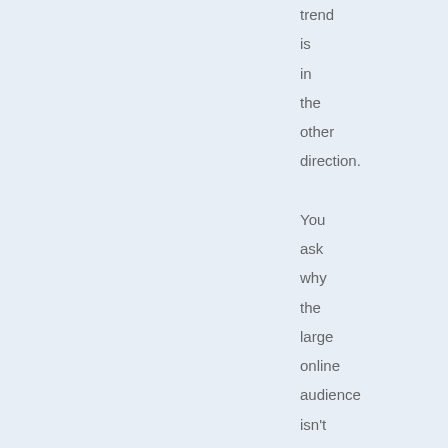trend is in the other direction. You ask why the large online audience isn't the headline — it isn't the headline because